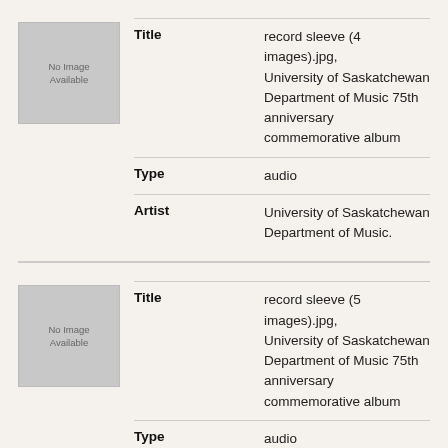[Figure (illustration): Placeholder image box with text 'No Image Available']
| Field | Value |
| --- | --- |
| Title | record sleeve (4 images).jpg, University of Saskatchewan Department of Music 75th anniversary commemorative album |
| Type | audio |
| Artist | University of Saskatchewan Department of Music. |
[Figure (illustration): Placeholder image box with text 'No Image Available']
| Field | Value |
| --- | --- |
| Title | record sleeve (5 images).jpg, University of Saskatchewan Department of Music 75th anniversary commemorative album |
| Type | audio |
| Artist | University of Saskatchewan Department of Music. |